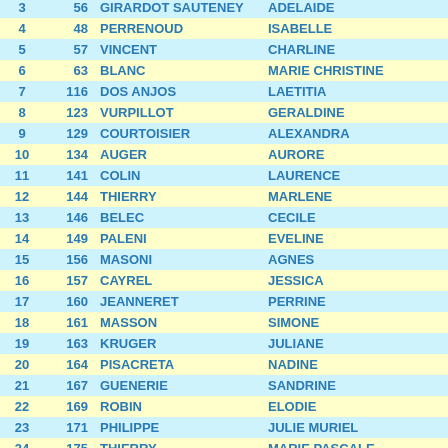| # | No | NOM | PRENOM |
| --- | --- | --- | --- |
| 3 | 56 | GIRARDOT SAUTENEY | ADELAIDE |
| 4 | 48 | PERRENOUD | ISABELLE |
| 5 | 57 | VINCENT | CHARLINE |
| 6 | 63 | BLANC | MARIE CHRISTINE |
| 7 | 116 | DOS ANJOS | LAETITIA |
| 8 | 123 | VURPILLOT | GERALDINE |
| 9 | 129 | COURTOISIER | ALEXANDRA |
| 10 | 134 | AUGER | AURORE |
| 11 | 141 | COLIN | LAURENCE |
| 12 | 144 | THIERRY | MARLENE |
| 13 | 146 | BELEC | CECILE |
| 14 | 149 | PALENI | EVELINE |
| 15 | 156 | MASONI | AGNES |
| 16 | 157 | CAYREL | JESSICA |
| 17 | 160 | JEANNERET | PERRINE |
| 18 | 161 | MASSON | SIMONE |
| 19 | 163 | KRUGER | JULIANE |
| 20 | 164 | PISACRETA | NADINE |
| 21 | 167 | GUENERIE | SANDRINE |
| 22 | 169 | ROBIN | ELODIE |
| 23 | 171 | PHILIPPE | JULIE MURIEL |
| 24 | 175 | THIERRY | MARIE PASCALE |
| 25 | 178 | GENTY | ANAIS |
| 26 | 181 | BORDET | ANNE |
| 27 | 187 | GRANDMOUGIN | AUDE |
| 28 | 188 | VAUTRIN | KATY |
| 29 | 196 | VOIDEY | ALINE |